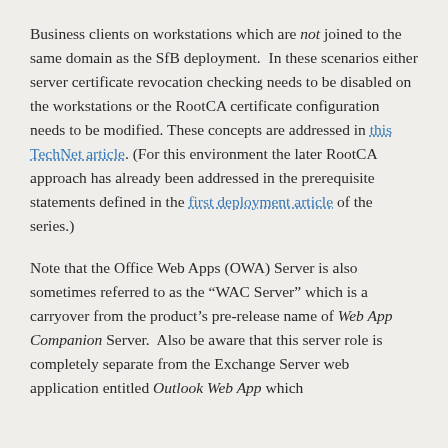Business clients on workstations which are not joined to the same domain as the SfB deployment. In these scenarios either server certificate revocation checking needs to be disabled on the workstations or the RootCA certificate configuration needs to be modified. These concepts are addressed in this TechNet article. (For this environment the later RootCA approach has already been addressed in the prerequisite statements defined in the first deployment article of the series.)
Note that the Office Web Apps (OWA) Server is also sometimes referred to as the "WAC Server" which is a carryover from the product's pre-release name of Web App Companion Server. Also be aware that this server role is completely separate from the Exchange Server web application entitled Outlook Web App which